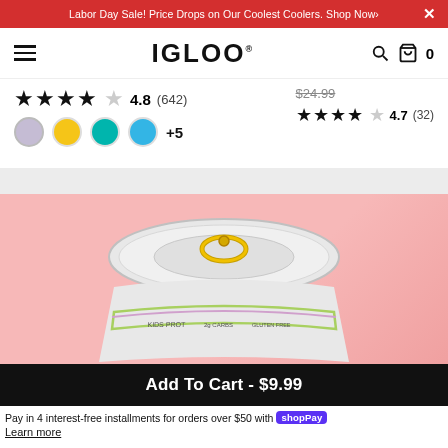Labor Day Sale! Price Drops on Our Coolest Coolers. Shop Now›
[Figure (logo): IGLOO brand logo with hamburger menu, search icon, and cart icon showing 0 items]
★★★★☆ 4.8 (642)
$24.99 ★★★★☆ 4.7 (32)
[Figure (other): Color swatches: lavender, yellow, teal, blue, +5 more]
[Figure (photo): Close-up of top of a can against a pink background. Can appears to be a nutrition/health drink with text visible: KIDS PROT, 2g CARBS, GLUTEN FREE]
Add To Cart - $9.99
Pay in 4 interest-free installments for orders over $50 with shop Pay
Learn more